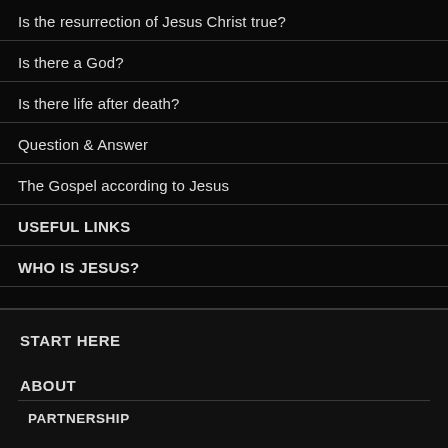Is the resurrection of Jesus Christ true?
Is there a God?
Is there life after death?
Question & Answer
The Gospel according to Jesus
USEFUL LINKS
WHO IS JESUS?
START HERE
ABOUT
PARTNERSHIP